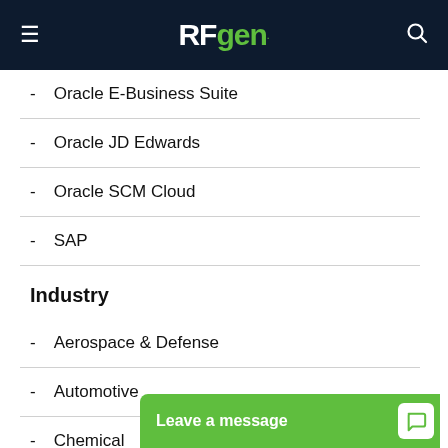RFgen
Oracle E-Business Suite
Oracle JD Edwards
Oracle SCM Cloud
SAP
Industry
Aerospace & Defense
Automotive
Chemical
Construction & Engineering
Consumer Goo...